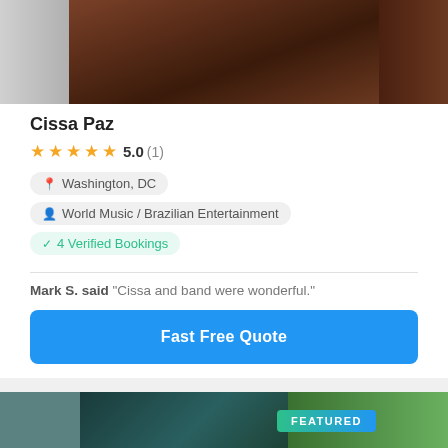[Figure (photo): Top portion of a performer photo, cropped, showing dark clothing and background]
Cissa Paz
★★★★★ 5.0 (1)
Washington, DC
World Music / Brazilian Entertainment
4 Verified Bookings
Mark S. said "Cissa and band were wonderful."
Fast Free Quote
[Figure (photo): Bottom performer photo with FEATURED badge overlay, colorful costume with teal and floral elements]